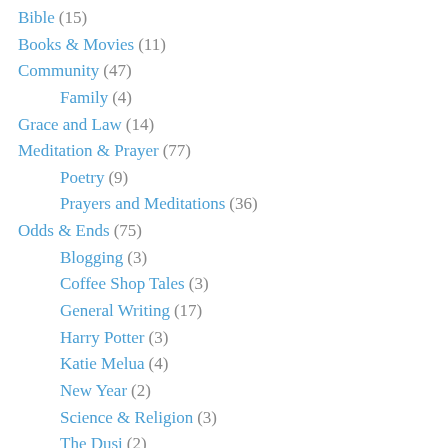Bible (15)
Books & Movies (11)
Community (47)
Family (4)
Grace and Law (14)
Meditation & Prayer (77)
Poetry (9)
Prayers and Meditations (36)
Odds & Ends (75)
Blogging (3)
Coffee Shop Tales (3)
General Writing (17)
Harry Potter (3)
Katie Melua (4)
New Year (2)
Science & Religion (3)
The Dusi (2)
The News (17)
Sermons (34)
Stories (13)